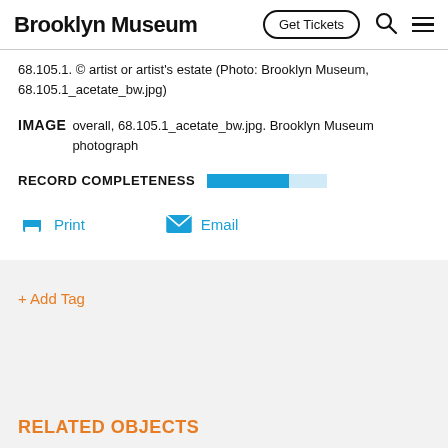Brooklyn Museum | Get Tickets
68.105.1. © artist or artist's estate (Photo: Brooklyn Museum, 68.105.1_acetate_bw.jpg)
IMAGE   overall, 68.105.1_acetate_bw.jpg. Brooklyn Museum photograph
RECORD COMPLETENESS
Print
Email
+ Add Tag
RELATED OBJECTS